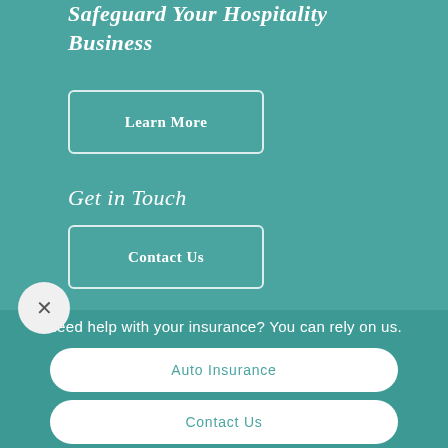Safeguard Your Hospitality Business
Learn More
Get in Touch
Contact Us
[Figure (other): Close/dismiss button - circular button with X icon]
Need help with your insurance? You can rely on us.
Auto Insurance
Contact Us